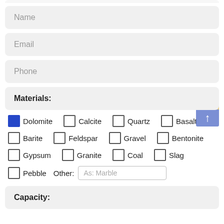Name
Email
Phone
Materials:
Dolomite (checked), Calcite, Quartz, Basalt
Barite, Feldspar, Gravel, Bentonite
Gypsum, Granite, Coal, Slag
Pebble, Other: As: Marble
Capacity: